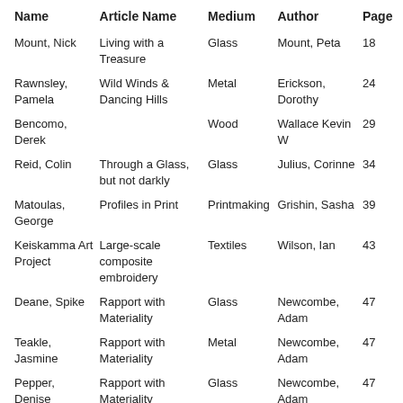| Name | Article Name | Medium | Author | Page |
| --- | --- | --- | --- | --- |
| Mount, Nick | Living with a Treasure | Glass | Mount, Peta | 18 |
| Rawnsley, Pamela | Wild Winds & Dancing Hills | Metal | Erickson, Dorothy | 24 |
| Bencomo, Derek |  | Wood | Wallace Kevin W | 29 |
| Reid, Colin | Through a Glass, but not darkly | Glass | Julius, Corinne | 34 |
| Matoulas, George | Profiles in Print | Printmaking | Grishin, Sasha | 39 |
| Keiskamma Art Project | Large-scale composite embroidery | Textiles | Wilson, Ian | 43 |
| Deane, Spike | Rapport with Materiality | Glass | Newcombe, Adam | 47 |
| Teakle, Jasmine | Rapport with Materiality | Metal | Newcombe, Adam | 47 |
| Pepper, Denise | Rapport with Materiality | Glass | Newcombe, Adam | 47 |
| Curran, Tony | Rapport with | Installation | Newcombe, | 48 |